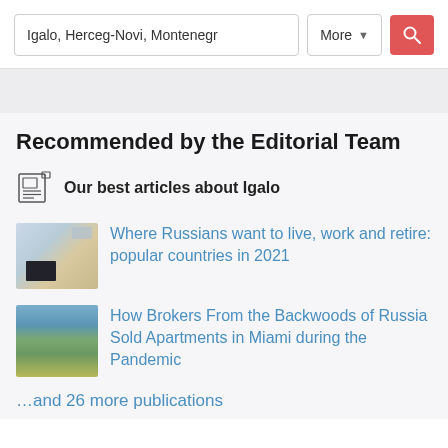Igalo, Herceg-Novi, Montenegr | More | [search button]
Recommended by the Editorial Team
Our best articles about Igalo
Where Russians want to live, work and retire: popular countries in 2021
How Brokers From the Backwoods of Russia Sold Apartments in Miami during the Pandemic
…and 26 more publications